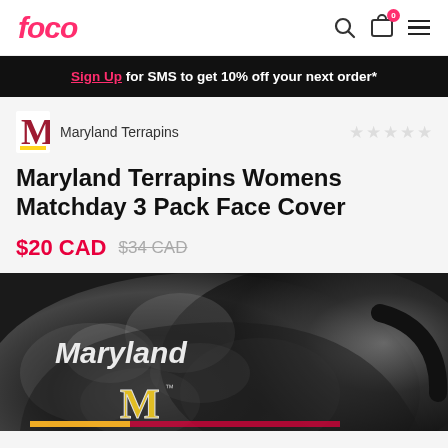FOCO
Sign Up for SMS to get 10% off your next order*
Maryland Terrapins
Maryland Terrapins Womens Matchday 3 Pack Face Cover
$20 CAD  $34 CAD
[Figure (photo): Maryland Terrapins Womens Matchday 3 Pack Face Cover - black and white tie-dye face covering with 'Maryland' script and M logo in gold, with black ear straps]